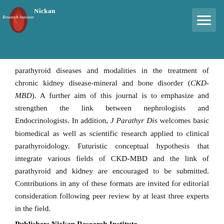[Figure (logo): Nickan Research Institute logo with red kidney/flame icon and white text on teal background header bar]
parathyroid diseases and modalities in the treatment of chronic kidney disease-mineral and bone disorder (CKD-MBD). A further aim of this journal is to emphasize and strengthen the link between nephrologists and Endocrinologists. In addition, J Parathyr Dis welcomes basic biomedical as well as scientific research applied to clinical parathyroidology. Futuristic conceptual hypothesis that integrate various fields of CKD-MBD and the link of parathyroid and kidney are encouraged to be submitted. Contributions in any of these formats are invited for editorial consideration following peer review by at least three experts in the field.
Publisher: Nickan Research Institute